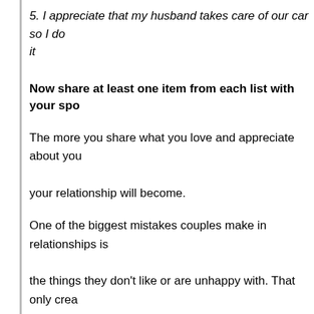5. I appreciate that my husband takes care of our car so I do not have to worry about it
Now share at least one item from each list with your spouse.
The more you share what you love and appreciate about your spouse, the stronger your relationship will become.
One of the biggest mistakes couples make in relationships is focusing only on the things they don't like or are unhappy with. That only creates negativity in the relationship.
Share what you love and what you appreciate to create a more positive and loving relationship.